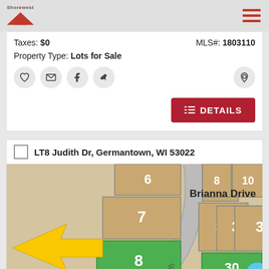Shorewest
Taxes: $0   MLS#: 1803110
Property Type: Lots for Sale
[Figure (screenshot): Action icons: heart, email, facebook, share, and map pin]
DETAILS
LT8 Judith Dr, Germantown, WI 53022
[Figure (map): Subdivision lot map showing lots numbered 7, 8 (highlighted green), 9, 10, 30 (green), 31, 32, 33, with Brianna Drive labeled and a yellow arrow pointer indicating lot 8]